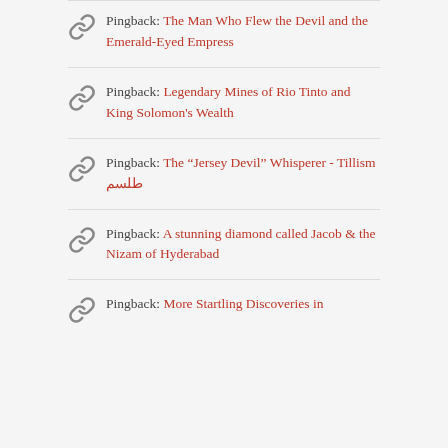Pingback: The Man Who Flew the Devil and the Emerald-Eyed Empress
Pingback: Legendary Mines of Rio Tinto and King Solomon’s Wealth
Pingback: The “Jersey Devil” Whisperer - Tillism طلسم
Pingback: A stunning diamond called Jacob & the Nizam of Hyderabad
Pingback: More Startling Discoveries in